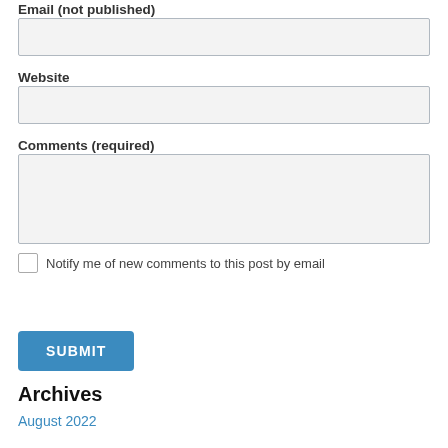Email (not published)
Website
Comments (required)
Notify me of new comments to this post by email
SUBMIT
Archives
August 2022